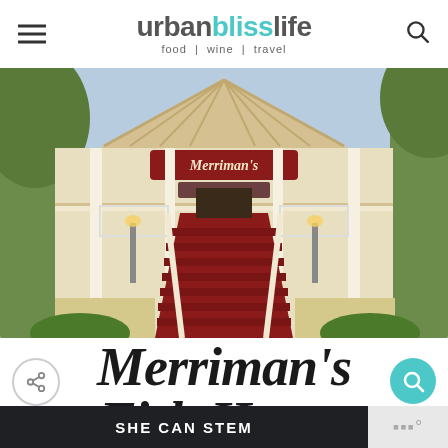urbanblisslife food | wine | travel
[Figure (photo): Exterior of Merriman's Fish House restaurant showing a grand white building with red-carpeted staircase, ornate railings, palm trees, and a large sign reading Merriman's Fish House under an open-air peaked roof]
Merriman's Fish House
[Figure (other): SHE CAN STEM banner advertisement at the bottom of the page]